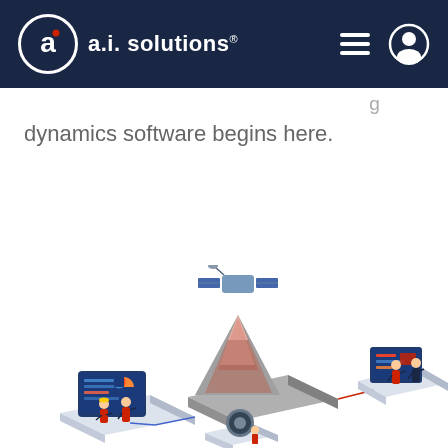a.i. solutions
dynamics software begins here.
[Figure (illustration): Isometric illustration showing a satellite orbiting above a terrain/mountain platform emitting a red beam, connected by red and blue lines to two workstation platforms: one on the left with two engineers working at a digital display panel, another on the lower middle with a circular screen, and one on the right with two engineers at a presentation screen.]